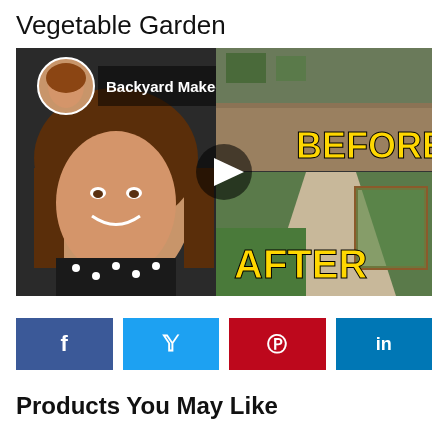Vegetable Garden
[Figure (screenshot): YouTube video thumbnail for 'Backyard Makeover Before & After |...' showing a woman smiling on the left, and split before/after images of a backyard garden on the right with yellow text BEFORE and AFTER, and a play button overlay.]
[Figure (infographic): Social sharing buttons: Facebook (f), Twitter (y), Pinterest (P), LinkedIn (in)]
Products You May Like